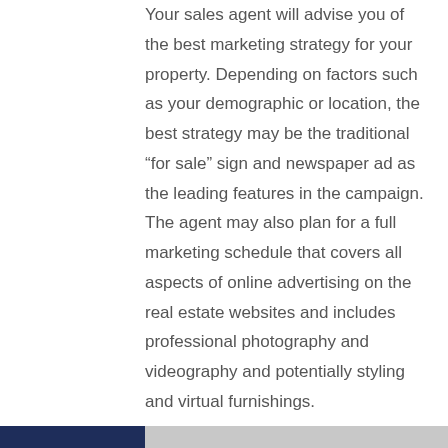Your sales agent will advise you of the best marketing strategy for your property. Depending on factors such as your demographic or location, the best strategy may be the traditional “for sale” sign and newspaper ad as the leading features in the campaign. The agent may also plan for a full marketing schedule that covers all aspects of online advertising on the real estate websites and includes professional photography and videography and potentially styling and virtual furnishings.
Your agent may also discuss a social media campaign with you that suits the property, to